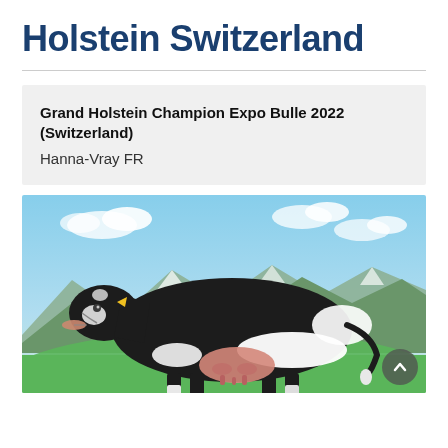Holstein Switzerland
Grand Holstein Champion Expo Bulle 2022 (Switzerland)
Hanna-Vray FR
[Figure (photo): A black and white Holstein dairy cow standing in profile against a backdrop of mountains and blue sky. The cow has a prominent udder and is wearing a halter/lead. This is Hanna-Vray FR, the Grand Holstein Champion at Expo Bulle 2022 in Switzerland.]